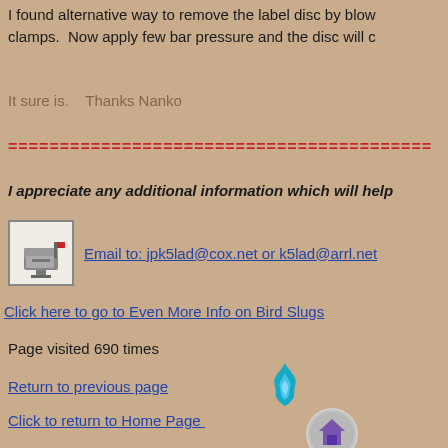I found alternative way to remove the label disc by blow clamps. Now apply few bar pressure and the disc will c
It sure is.   Thanks Nanko
=====================================
I appreciate any additional information which will help
[Figure (illustration): Pixel art mailbox icon with red flag]
Email to: jpk5lad@cox.net or k5lad@arrl.net
Click here to go to Even More Info on Bird Slugs
Page visited 690 times
[Figure (illustration): Flame/fire icon in blue-cyan color]
Return to previous page
[Figure (illustration): Home button icon - gray circular button with house symbol]
Click to return to Home Page